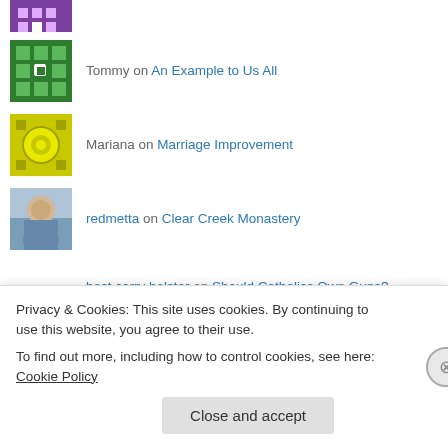Tommy on An Example to Us All
Mariana on Marriage Improvement
redmetta on Clear Creek Monastery
best carry holster on Should Catholics Own Guns?
​​​​​​​​​​​​​​​​ on Pope Paul VI and The Smoke of…
witnesstolife on Archbishop Niederauer Instruct…
dota 2 beta start da… on Married Priests From the First…
Privacy & Cookies: This site uses cookies. By continuing to use this website, you agree to their use.
To find out more, including how to control cookies, see here: Cookie Policy
Close and accept